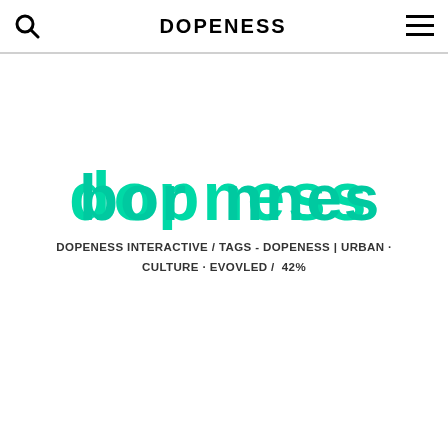DOPENESS
[Figure (logo): Large teal/mint colored stylized text logo reading 'dopeness' in bold lowercase letters]
DOPENESS INTERACTIVE / TAGS - DOPENESS | URBAN · CULTURE · EVOVLED /  42%